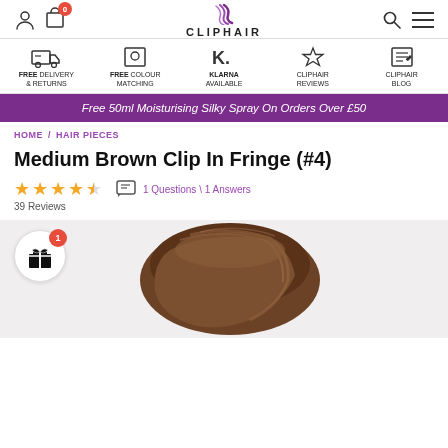CLIPHAIR
FREE DELIVERY & RETURNS | FREE COLOUR MATCHING | KLARNA AVAILABLE | CLIPHAIR REVIEWS | CLIPHAIR BLOG
Free 50ml Moisturising Silky Spray On Orders Over £50
HOME / HAIR PIECES
Medium Brown Clip In Fringe (#4)
39 Reviews  1 Questions \ 1 Answers
[Figure (photo): Back of a person's head showing medium brown hair used as a product photo for the clip-in fringe hairpiece]